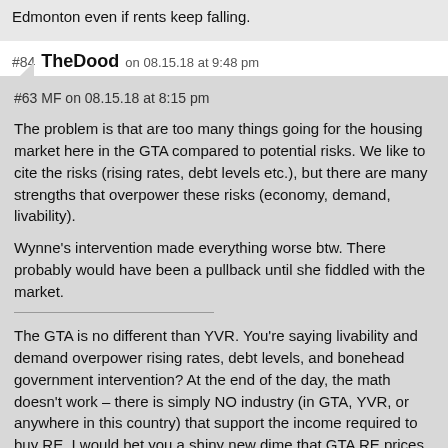Edmonton even if rents keep falling.
#84 TheDood on 08.15.18 at 9:48 pm
#63 MF on 08.15.18 at 8:15 pm
The problem is that are too many things going for the housing market here in the GTA compared to potential risks. We like to cite the risks (rising rates, debt levels etc.), but there are many strengths that overpower these risks (economy, demand, livability).
Wynne's intervention made everything worse btw. There probably would have been a pullback until she fiddled with the market.
The GTA is no different than YVR. You're saying livability and demand overpower rising rates, debt levels, and bonehead government intervention? At the end of the day, the math doesn't work – there is simply NO industry (in GTA, YVR, or anywhere in this country) that support the income required to buy RE. I would bet you a shiny new dime that GTA RE prices will be heading south in a big way, but am too busy